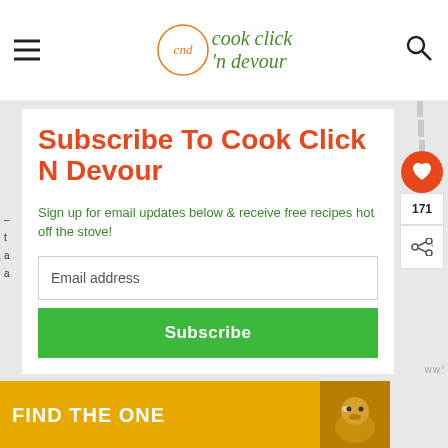cook click 'n devour
Subscribe To Cook Click N Devour
Sign up for email updates below & receive free recipes hot off the stove!
Email address
Subscribe
[Figure (infographic): Advertisement banner with text FIND THE ONE and a dog image on yellow/gold background]
171